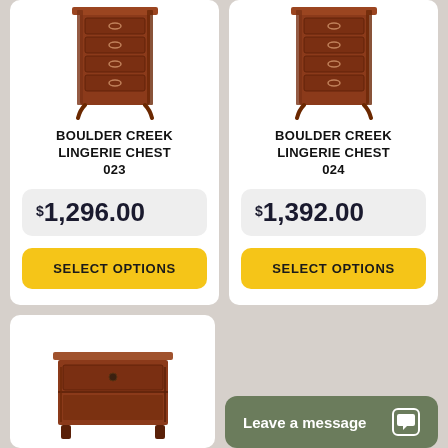[Figure (photo): Boulder Creek Lingerie Chest 023 - wooden dresser with multiple drawers, reddish-brown finish]
BOULDER CREEK LINGERIE CHEST 023
$1,296.00
SELECT OPTIONS
[Figure (photo): Boulder Creek Lingerie Chest 024 - wooden dresser with multiple drawers, reddish-brown finish]
BOULDER CREEK LINGERIE CHEST 024
$1,392.00
SELECT OPTIONS
[Figure (photo): Wooden nightstand with drawer and lower shelf, reddish-brown finish]
Leave a message